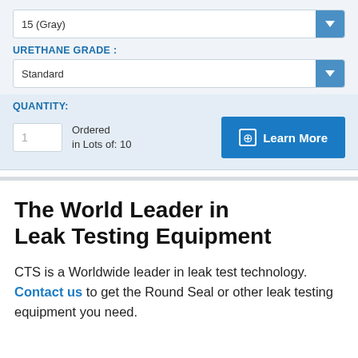15 (Gray)
URETHANE GRADE :
Standard
QUANTITY:
1 — Ordered in Lots of: 10
⊕ Learn More
The World Leader in Leak Testing Equipment
CTS is a Worldwide leader in leak test technology. Contact us to get the Round Seal or other leak testing equipment you need.